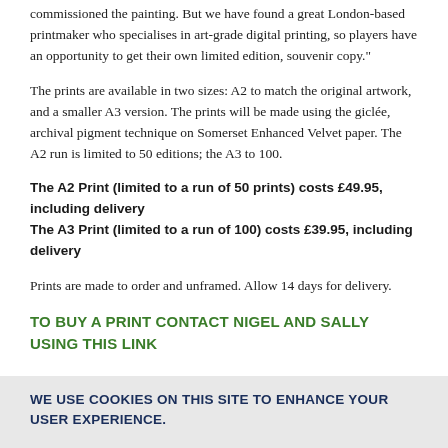commissioned the painting. But we have found a great London-based printmaker who specialises in art-grade digital printing, so players have an opportunity to get their own limited edition, souvenir copy."
The prints are available in two sizes: A2 to match the original artwork, and a smaller A3 version. The prints will be made using the giclée, archival pigment technique on Somerset Enhanced Velvet paper. The A2 run is limited to 50 editions; the A3 to 100.
The A2 Print (limited to a run of 50 prints) costs £49.95, including delivery
The A3 Print (limited to a run of 100) costs £39.95, including delivery
Prints are made to order and unframed. Allow 14 days for delivery.
TO BUY A PRINT CONTACT NIGEL AND SALLY USING THIS LINK
WE USE COOKIES ON THIS SITE TO ENHANCE YOUR USER EXPERIENCE.